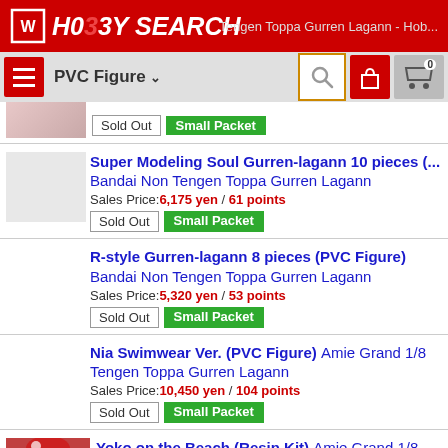HOBBY SEARCH — Tengen Toppa Gurren Lagann - Hob...
PVC Figure
Super Modeling Soul Gurren-lagann 10 pieces (... Bandai Non Tengen Toppa Gurren Lagann
Sales Price: 6,175 yen / 61 points
R-style Gurren-lagann 8 pieces (PVC Figure) Bandai Non Tengen Toppa Gurren Lagann
Sales Price: 5,320 yen / 53 points
Nia Swimwear Ver. (PVC Figure) Amie Grand 1/8 Tengen Toppa Gurren Lagann
Sales Price: 10,450 yen / 104 points
Yoko on the Beach (Resin Kit) Amie Grand 1/8 Tengen Toppa Gurren Lagann
Sales Price: 9,025 yen / 90 points